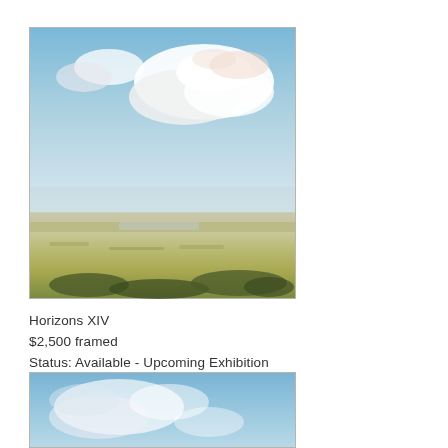[Figure (illustration): Landscape painting showing a wide open plain with golden-green shrubby vegetation in the lower portion, a flat horizon line with distant hills, and a large expansive blue sky filled with white cumulus clouds. The painting has a soft, impressionistic style.]
Horizons XIV
$2,500 framed
Status: Available - Upcoming Exhibition
[Figure (illustration): Partial view of a second landscape painting showing a blue sky with soft white clouds, cropped at the bottom of the page.]